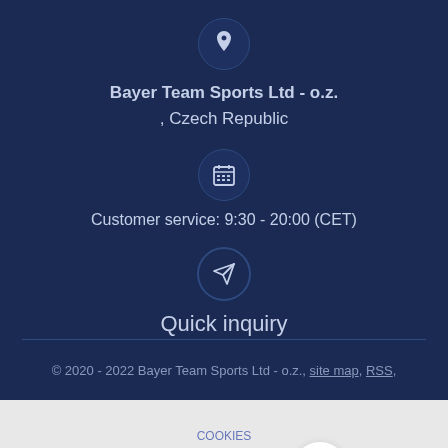Bayer Team Sports Ltd - o.z.
, Czech Republic
Customer service: 9:30 - 20:00 (CET)
Quick inquiry
© 2020 - 2022 Bayer Team Sports Ltd - o.z., site map, RSS,
This website uses cookies to ensure you get the best experience on our website Learn more